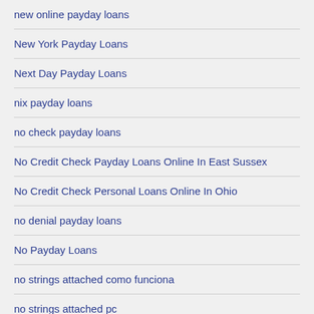new online payday loans
New York Payday Loans
Next Day Payday Loans
nix payday loans
no check payday loans
No Credit Check Payday Loans Online In East Sussex
No Credit Check Personal Loans Online In Ohio
no denial payday loans
No Payday Loans
no strings attached como funciona
no strings attached pc